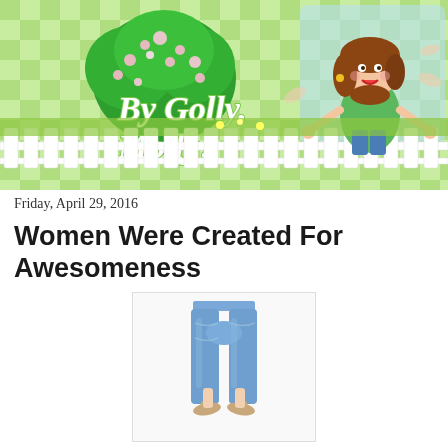[Figure (illustration): By Golly Molly blog header banner with green checkered background, animated tree with pink blossoms, white picket fence, and cartoon illustration of a brunette woman with arms outstretched]
Friday, April 29, 2016
Women Were Created For Awesomeness
[Figure (photo): Photo of a woman wearing light wash blue jeans/denim pants with heeled sandals, shown from waist down on a white background]